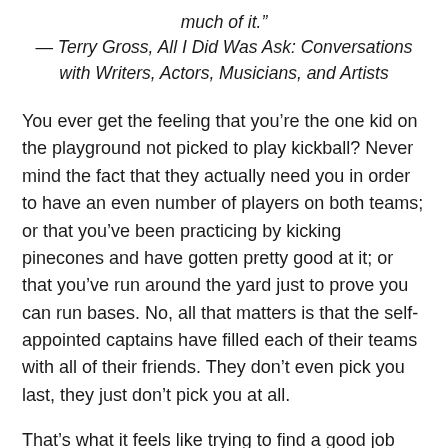much of it."
— Terry Gross, All I Did Was Ask: Conversations with Writers, Actors, Musicians, and Artists
You ever get the feeling that you're the one kid on the playground not picked to play kickball? Never mind the fact that they actually need you in order to have an even number of players on both teams; or that you've been practicing by kicking pinecones and have gotten pretty good at it; or that you've run around the yard just to prove you can run bases. No, all that matters is that the self-appointed captains have filled each of their teams with all of their friends. They don't even pick you last, they just don't pick you at all.
That's what it feels like trying to find a good job these days. My skills are honed and demonstrable, colleagues